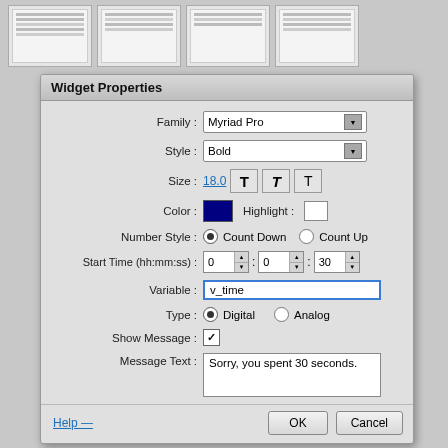[Figure (screenshot): Thumbnail strip showing 4 small page thumbnails at the top of the screen]
[Figure (screenshot): Widget Properties dialog box with fields: Family (Myriad Pro), Style (Bold), Size (18.0), Color (dark blue), Highlight (white), Number Style (Count Down / Count Up), Start Time (0:0:30), Variable (v_time), Type (Digital / Analog), Show Message (checked), Message Text (Sorry, you spent 30 seconds.)]